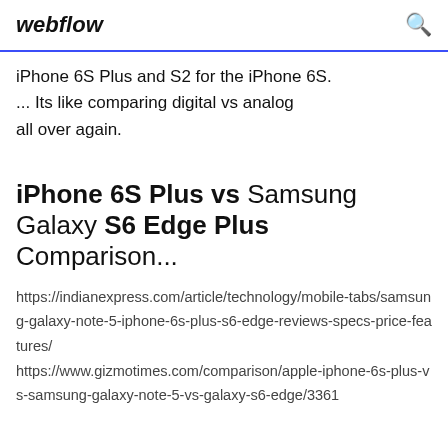webflow
iPhone 6S Plus and S2 for the iPhone 6S. ... Its like comparing digital vs analog all over again.
iPhone 6S Plus vs Samsung Galaxy S6 Edge Plus Comparison...
https://indianexpress.com/article/technology/mobile-tabs/samsung-galaxy-note-5-iphone-6s-plus-s6-edge-reviews-specs-price-features/ https://www.gizmotimes.com/comparison/apple-iphone-6s-plus-vs-samsung-galaxy-note-5-vs-galaxy-s6-edge/3361